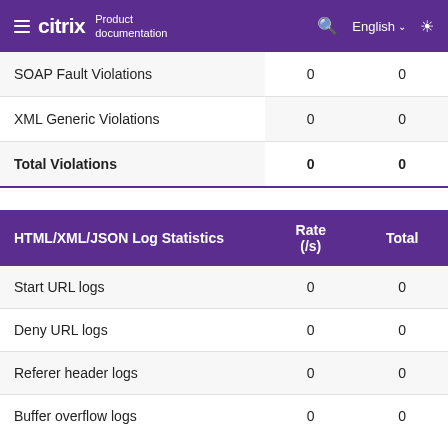citrix Product documentation | English
|  |  |  |
| --- | --- | --- |
| SOAP Fault Violations | 0 | 0 |
| XML Generic Violations | 0 | 0 |
| Total Violations | 0 | 0 |
| HTML/XML/JSON Log Statistics | Rate (/s) | Total |
| --- | --- | --- |
| Start URL logs | 0 | 0 |
| Deny URL logs | 0 | 0 |
| Referer header logs | 0 | 0 |
| Buffer overflow logs | 0 | 0 |